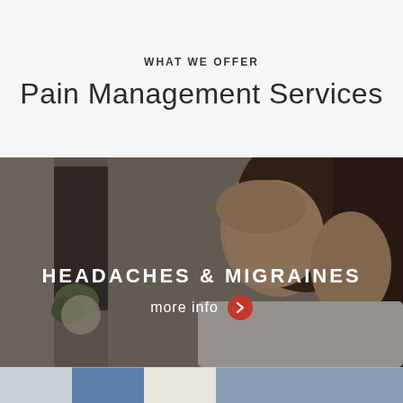WHAT WE OFFER
Pain Management Services
[Figure (photo): Woman holding her head with both hands, eyes closed, suggesting a headache or migraine. Background shows a blurred indoor setting with warm tones.]
HEADACHES & MIGRAINES
more info ❯
[Figure (photo): Partial view of a second photo section at the bottom, showing what appears to be a medical professional in blue clothing.]